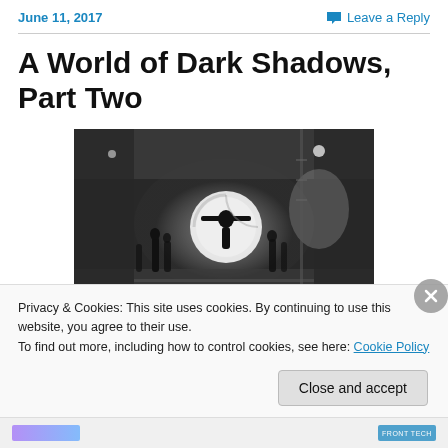June 11, 2017   Leave a Reply
A World of Dark Shadows, Part Two
[Figure (photo): Black and white cinematic still showing silhouettes of people in a large, dimly lit industrial or theatrical space with dramatic lighting, a central figure with arms outstretched backlit by a circular light source.]
Privacy & Cookies: This site uses cookies. By continuing to use this website, you agree to their use.
To find out more, including how to control cookies, see here: Cookie Policy
Close and accept